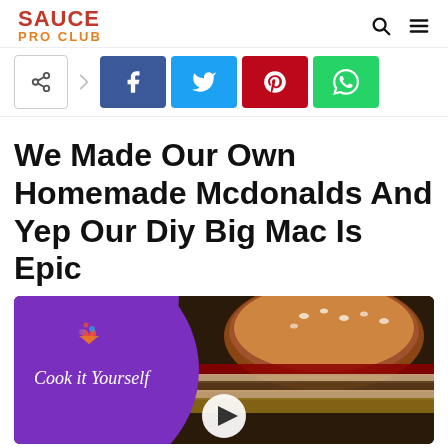SAUCE PRO CLUB
[Figure (screenshot): Social share bar with share icon, Facebook, Twitter, Pinterest, and WhatsApp buttons]
We Made Our Own Homemade Mcdonalds And Yep Our Diy Big Mac Is Epic
[Figure (photo): Video thumbnail showing a burger with a purple 'Cook it Yourself' branded circle overlay on the left and a play button at the bottom center]
scroll indicator arrow